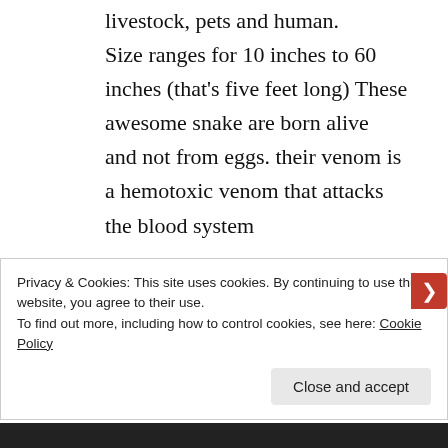livestock, pets and human. Size ranges for 10 inches to 60 inches (that's five feet long) These awesome snake are born alive and not from eggs. their venom is a hemotoxic venom that attacks the blood system
Eastern Diamond Back Rattlesnake:
Privacy & Cookies: This site uses cookies. By continuing to use this website, you agree to their use.
To find out more, including how to control cookies, see here: Cookie Policy